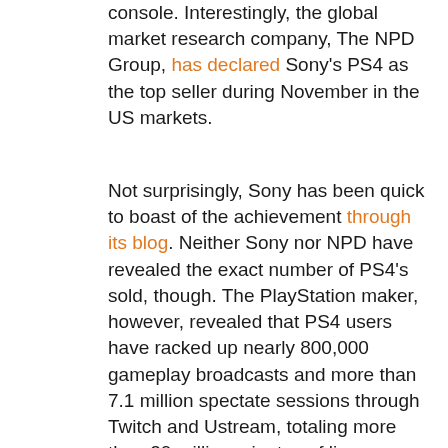console. Interestingly, the global market research company, The NPD Group, has declared Sony's PS4 as the top seller during November in the US markets.
Not surprisingly, Sony has been quick to boast of the achievement through its blog. Neither Sony nor NPD have revealed the exact number of PS4's sold, though. The PlayStation maker, however, revealed that PS4 users have racked up nearly 800,000 gameplay broadcasts and more than 7.1 million spectate sessions through Twitch and Ustream, totaling more than 20 million minutes of live gameplay.
The NPD Group's numbers are plausible because even though the Xbox One may have equalled Sony's achievement with day one PS4 sales, it must be noted that Xbox received a 13-country wide launch, whereas the PS4 was only launched in US and